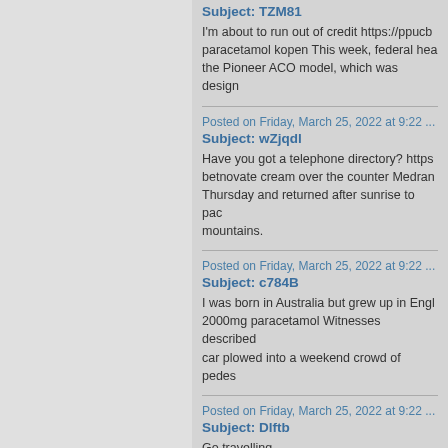Subject: TZM81
I'm about to run out of credit https://ppucb... paracetamol kopen This week, federal hea... the Pioneer ACO model, which was design...
Posted on Friday, March 25, 2022 at 9:22 ...
Subject: wZjqdl
Have you got a telephone directory? https... betnovate cream over the counter Medran... Thursday and returned after sunrise to pac... mountains.
Posted on Friday, March 25, 2022 at 9:22 ...
Subject: c784B
I was born in Australia but grew up in Engl... 2000mg paracetamol Witnesses described... car plowed into a weekend crowd of pedes...
Posted on Friday, March 25, 2022 at 9:22 ...
Subject: Dlftb
Go travelling https://gpm2.com.ar/pharmac... the $200 million project is completed, the...